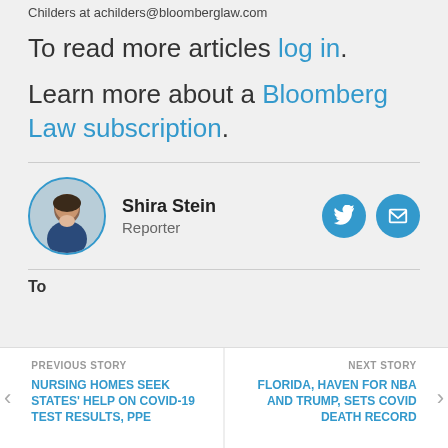Childers at achilders@bloomberglaw.com
To read more articles log in.
Learn more about a Bloomberg Law subscription.
[Figure (photo): Circular profile photo of Shira Stein with blue border]
Shira Stein
Reporter
Topics
PREVIOUS STORY
NURSING HOMES SEEK STATES' HELP ON COVID-19 TEST RESULTS, PPE
NEXT STORY
FLORIDA, HAVEN FOR NBA AND TRUMP, SETS COVID DEATH RECORD